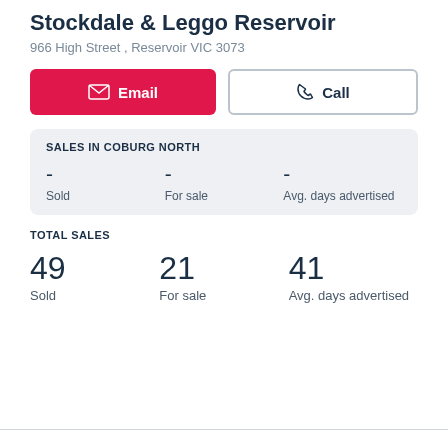Stockdale & Leggo Reservoir
966 High Street , Reservoir VIC 3073
Email
Call
SALES IN COBURG NORTH
| Sold | For sale | Avg. days advertised |
| --- | --- | --- |
| - | - | - |
TOTAL SALES
| Sold | For sale | Avg. days advertised |
| --- | --- | --- |
| 49 | 21 | 41 |